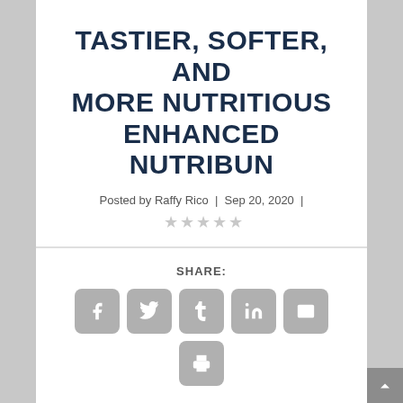TASTIER, SOFTER, AND MORE NUTRITIOUS ENHANCED NUTRIBUN
Posted by Raffy Rico | Sep 20, 2020 | ★★★★★
SHARE:
[Figure (infographic): Social share buttons: Facebook, Twitter, Tumblr, LinkedIn, Email, Print]
This website uses cookies to improve your experience. We'll assume you're ok with this, but you can opt-out if you wish.
Cookie settings  ACCEPT  Reject